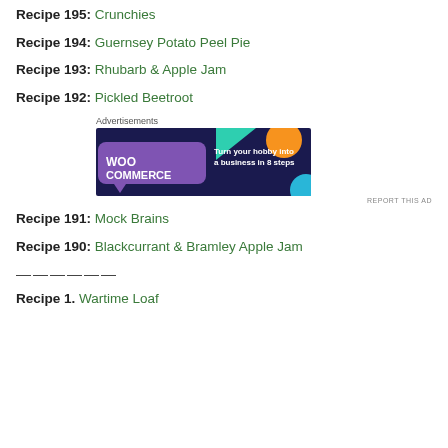Recipe 195: Crunchies
Recipe 194: Guernsey Potato Peel Pie
Recipe 193: Rhubarb & Apple Jam
Recipe 192: Pickled Beetroot
[Figure (other): WooCommerce advertisement banner: 'Turn your hobby into a business in 8 steps' on a dark purple background with geometric shapes in teal, orange, and blue.]
Recipe 191: Mock Brains
Recipe 190: Blackcurrant & Bramley Apple Jam
——————
Recipe 1. Wartime Loaf